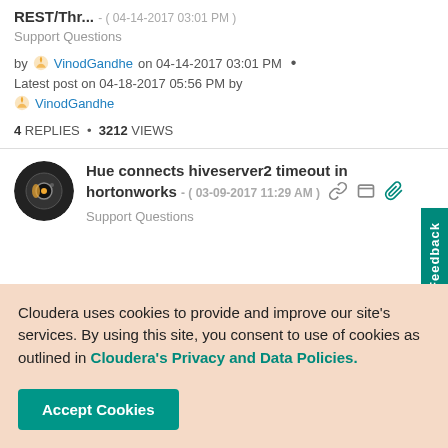REST/Thr... - ( 04-14-2017 03:01 PM )
Support Questions
by VinodGandhe on 04-14-2017 03:01 PM
Latest post on 04-18-2017 05:56 PM by VinodGandhe
4 REPLIES  *  3212 VIEWS
Hue connects hiveserver2 timeout in hortonworks - ( 03-09-2017 11:29 AM )
Support Questions
Cloudera uses cookies to provide and improve our site's services. By using this site, you consent to use of cookies as outlined in Cloudera's Privacy and Data Policies.
Accept Cookies